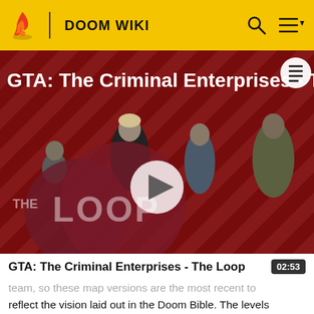DOOM WIKI
[Figure (screenshot): Video thumbnail for 'GTA: The Criminal Enterprises - The Loop' showing GTA Online characters against a red diagonal striped background. A play button overlay is visible in the center. 'THE LOOP' text with circular logo overlay in the lower left.]
GTA: The Criminal Enterprises - The Loop
team, so these map versions are the most recent to reflect the vision laid out in the Doom Bible. The levels made by Hall are mostly identical to retail, with the notable exception of texturing, contradicting developer